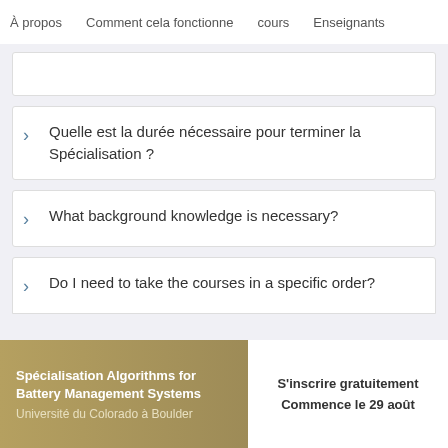À propos   Comment cela fonctionne   cours   Enseignants
Quelle est la durée nécessaire pour terminer la Spécialisation ?
What background knowledge is necessary?
Do I need to take the courses in a specific order?
Spécialisation Algorithms for Battery Management Systems
Université du Colorado à Boulder
S'inscrire gratuitement
Commence le 29 août